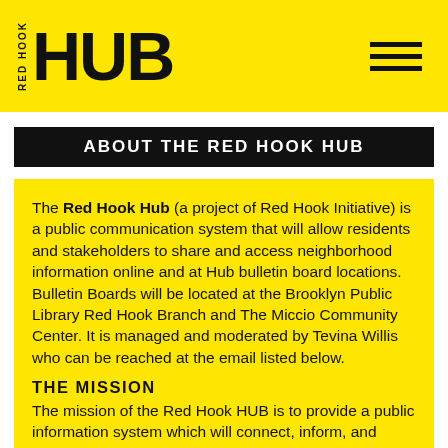[Figure (logo): Red Hook HUB logo on yellow background with hamburger menu icon]
ABOUT THE RED HOOK HUB
The Red Hook Hub (a project of Red Hook Initiative) is a public communication system that will allow residents and stakeholders to share and access neighborhood information online and at Hub bulletin board locations. Bulletin Boards will be located at the Brooklyn Public Library Red Hook Branch and The Miccio Community Center. It is managed and moderated by Tevina Willis who can be reached at the email listed below.
THE MISSION
The mission of the Red Hook HUB is to provide a public information system which will connect, inform, and